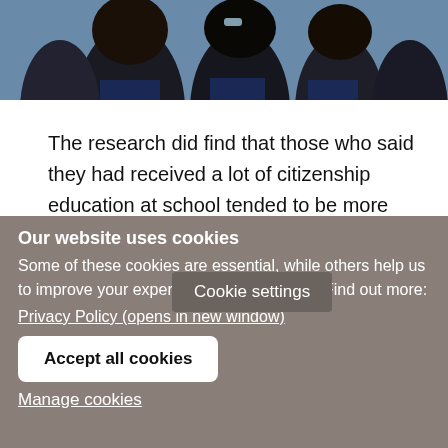[Figure (photo): Photo of students in school uniforms, partially cropped showing heads and shoulders]
The research did find that those who said they had received a lot of citizenship education at school tended to be more supportive of FBVs than those who said they had none.
However, no specifi[c citizenship] teaching was
Cookie settings
Our website uses cookies
Some of these cookies are essential, while others help us to improve your experience of our website. Find out more:
Privacy Policy (opens in new window)
Accept all cookies
Manage cookies